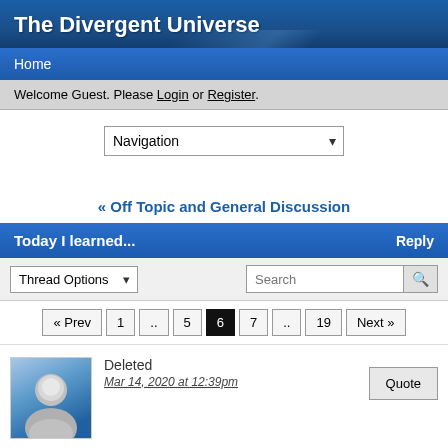The Divergent Universe
Home
Welcome Guest. Please Login or Register.
[Figure (screenshot): Navigation dropdown selector]
« Off Topic and General Discussion
Today I learned...    Reply
[Figure (screenshot): Thread Options dropdown and Search box]
[Figure (screenshot): Pagination: « Prev 1 .. 5 6 7 .. 19 Next »]
Deleted
Mar 14, 2020 at 12:39pm